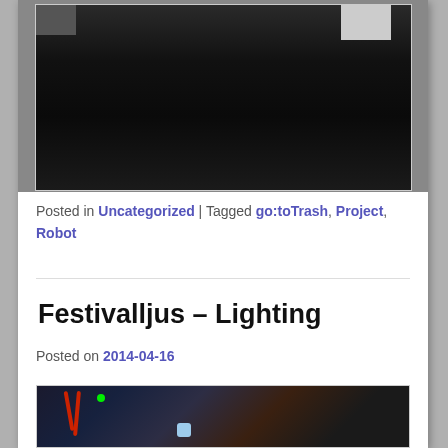[Figure (photo): A dark outdoor scene with a large black tarp or bin, with people visible at the top of the frame.]
Posted in Uncategorized | Tagged go:toTrash, Project, Robot
Festivalljus – Lighting
Posted on 2014-04-16
[Figure (photo): Electronics workbench photo showing circuit components, red wires, batteries, and a glowing LED light on a breadboard.]